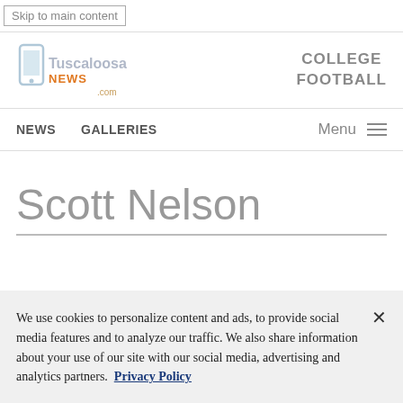Skip to main content
[Figure (logo): Tuscaloosa News logo — newspaper icon with blue and orange stylized text]
COLLEGE FOOTBALL
NEWS   GALLERIES   Menu
Scott Nelson
We use cookies to personalize content and ads, to provide social media features and to analyze our traffic. We also share information about your use of our site with our social media, advertising and analytics partners. Privacy Policy